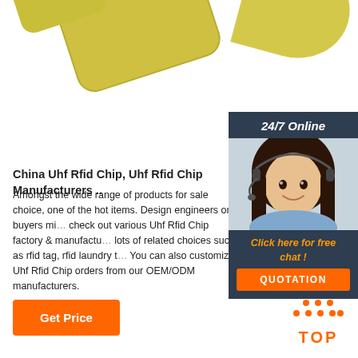[Figure (photo): Yellow/gold colored RFID chip cards on white background]
[Figure (illustration): 24/7 Online customer service chat box with a smiling woman wearing a headset, orange 'Click here for free chat!' link and orange QUOTATION button]
China Uhf Rfid Chip, Uhf Rfid Chip Manufacturers ..
Amongst the wide range of products for sale choice, one of the hot items. Design engineers or buyers might check out various Uhf Rfid Chip factory & manufacturers, lots of related choices such as rfid tag, rfid laundry t... You can also customize Uhf Rfid Chip orders from our OEM/ODM manufacturers.
[Figure (other): Orange 'Get Price' button]
[Figure (other): Orange TOP badge with dots above]